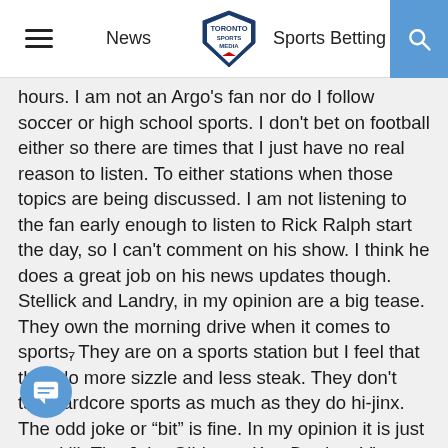News | Toronto Sports Media [logo] | Sports Betting | [Search]
hours. I am not an Argo's fan nor do I follow soccer or high school sports. I don't bet on football either so there are times that I just have no real reason to listen. To either stations when those topics are being discussed. I am not listening to the fan early enough to listen to Rick Ralph start the day, so I can't comment on his show. I think he does a great job on his news updates though. Stellick and Landry, in my opinion are a big tease. They own the morning drive when it comes to sports. They are on a sports station but I feel that they do more sizzle and less steak. They don't talk hardcore sports as much as they do hi-jinx. The odd joke or “bit” is fine. In my opinion it is just over kill. The John Gibbons, Ken Dryden, Vito from Woodbridge and the mind reader schtick are just lame now – again in my opinion. Their insiders can be great. When they talk sports they are terrific. The segments they used to do with Sam Mitchell were the
7